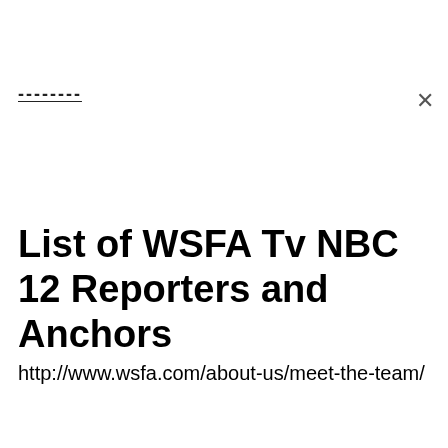--------
List of WSFA Tv NBC 12 Reporters and Anchors
http://www.wsfa.com/about-us/meet-the-team/